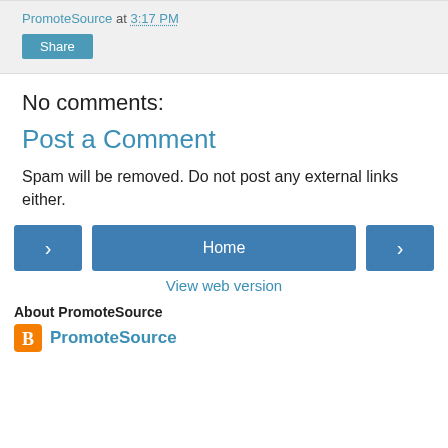PromoteSource at 3:17 PM
Share
No comments:
Post a Comment
Spam will be removed. Do not post any external links either.
‹   Home   ›
View web version
About PromoteSource
PromoteSource